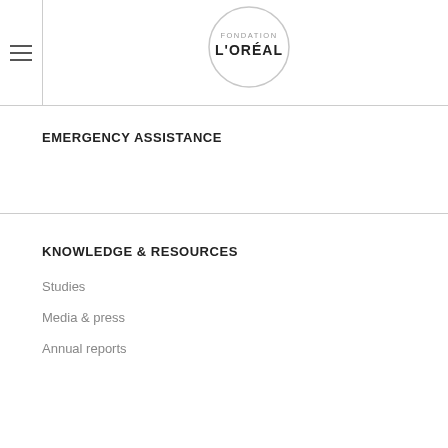[Figure (logo): Fondation L'Oréal circular logo with text FONDATION L'ORÉAL inside a light gray circle outline]
EMERGENCY ASSISTANCE
KNOWLEDGE & RESOURCES
Studies
Media & press
Annual reports